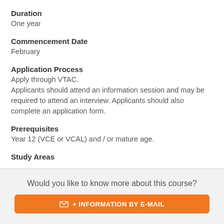Duration
One year
Commencement Date
February
Application Process
Apply through VTAC.
Applicants should attend an information session and may be required to attend an interview. Applicants should also complete an application form.
Prerequisites
Year 12 (VCE or VCAL) and / or mature age.
Study Areas
Would you like to know more about this course?
+ INFORMATION BY E-MAIL